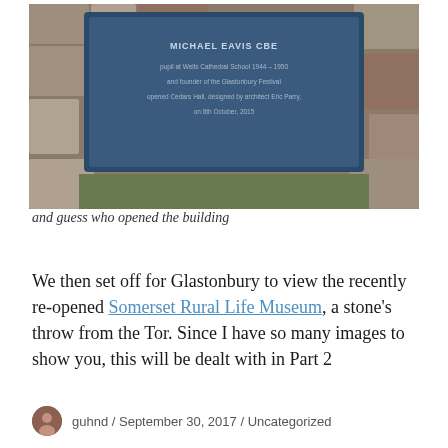[Figure (photo): Photo of a blue commemorative plaque mounted on a stone wall. The plaque reads: MICHAEL EAVIS CBE, pupil at Wells Cathedral School 1944 – 1950 and founder of the Glastonbury Festival. opened Cedars Hall, designed by architect Eric Parry, on 8th October, 2015.]
and guess who opened the building
We then set off for Glastonbury to view the recently re-opened Somerset Rural Life Museum, a stone's throw from the Tor. Since I have so many images to show you, this will be dealt with in Part 2
guhnd / September 30, 2017 / Uncategorized